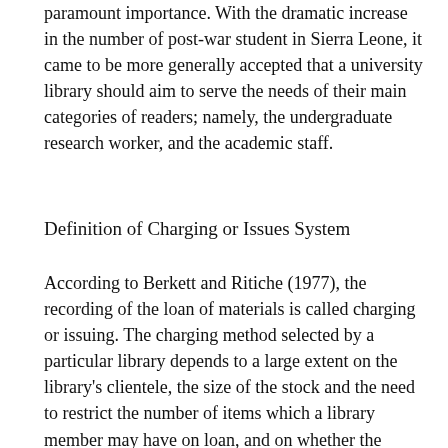paramount importance. With the dramatic increase in the number of post-war student in Sierra Leone, it came to be more generally accepted that a university library should aim to serve the needs of their main categories of readers; namely, the undergraduate research worker, and the academic staff.
Definition of Charging or Issues System
According to Berkett and Ritiche (1977), the recording of the loan of materials is called charging or issuing. The charging method selected by a particular library depends to a large extent on the library's clientele, the size of the stock and the need to restrict the number of items which a library member may have on loan, and on whether the library has peak periods for the lending and returning of materials. The choice of methods will also be affected by the amount and type of information the